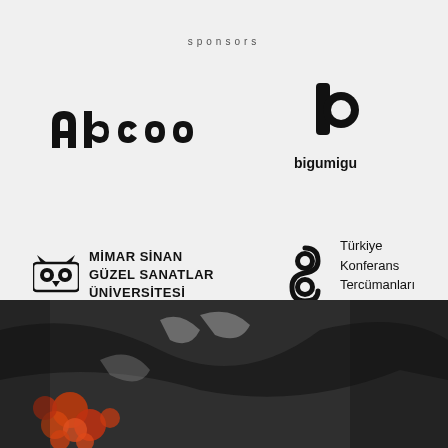sponsors
[Figure (logo): abcoo logo - stylized black rounded lettering spelling 'abcoo']
[Figure (logo): bigumigu logo - black stylized letter b with circular element, text 'bigumigu' below]
[Figure (logo): Mimar Sinan Güzel Sanatlar Üniversitesi logo - owl icon with text 'MİMAR SİNAN GÜZEL SANATLAR ÜNİVERSİTESİ']
[Figure (logo): Türkiye Konferans Tercümanları Derneği logo - stylized S symbol with text]
[Figure (photo): Abstract painting with dark background, orange/red floral elements and grey brushstrokes]